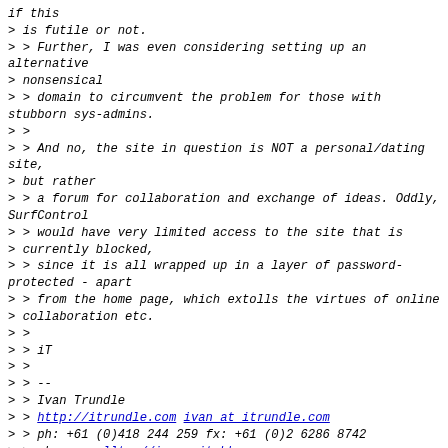if this
> is futile or not.
> > Further, I was even considering setting up an alternative
> nonsensical
> > domain to circumvent the problem for those with stubborn sys-admins.
> >
> > And no, the site in question is NOT a personal/dating site,
> but rather
> > a forum for collaboration and exchange of ideas. Oddly, SurfControl
> > would have very limited access to the site that is
> currently blocked,
> > since it is all wrapped up in a layer of password-protected - apart
> > from the home page, which extolls the virtues of online
> collaboration etc.
> >
> > iT
> >
> > --
> > Ivan Trundle
> > http://itrundle.com ivan at itrundle.com
> > ph: +61 (0)418 244 259 fx: +61 (0)2 6286 8742
> > skype: callto://ivanovitchk
> >
> >